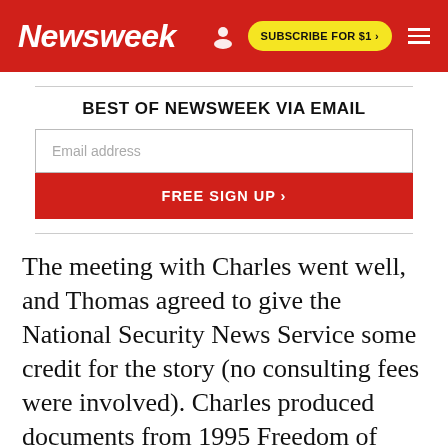Newsweek | SUBSCRIBE FOR $1 >
BEST OF NEWSWEEK VIA EMAIL
Email address
FREE SIGN UP >
The meeting with Charles went well, and Thomas agreed to give the National Security News Service some credit for the story (no consulting fees were involved). Charles produced documents from 1995 Freedom of